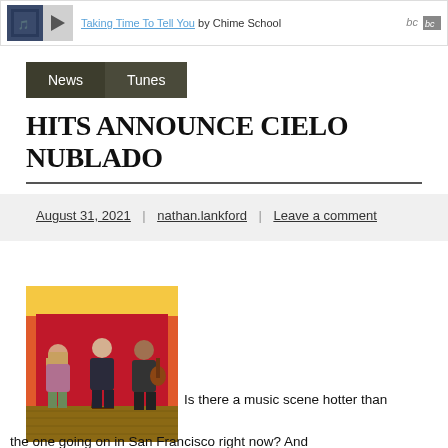Taking Time To Tell You by Chime School | bc
News | Tunes
HITS ANNOUNCE CIELO NUBLADO
August 31, 2021 | nathan.lankford | Leave a comment
[Figure (photo): Three people standing in front of a red fabric backdrop in what appears to be an indoor space with wooden floors.]
Is there a music scene hotter than the one going on in San Francisco right now? And...